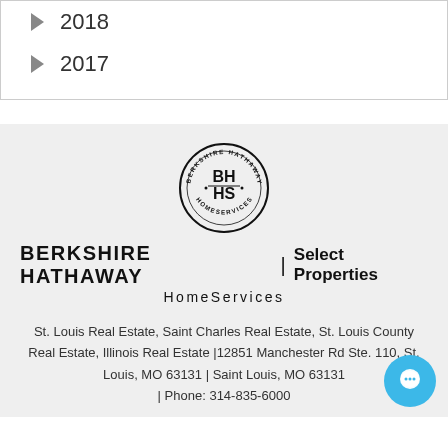▶ 2018
▶ 2017
[Figure (logo): Berkshire Hathaway HomeServices circular logo with BH HS text and circular text reading BERKSHIRE HATHAWAY HOMESERVICES]
BERKSHIRE HATHAWAY | Select Properties HomeServices
St. Louis Real Estate, Saint Charles Real Estate, St. Louis County Real Estate, Illinois Real Estate |12851 Manchester Rd Ste. 110, St. Louis, MO 63131 | Saint Louis, MO 63131 | Phone: 314-835-6000